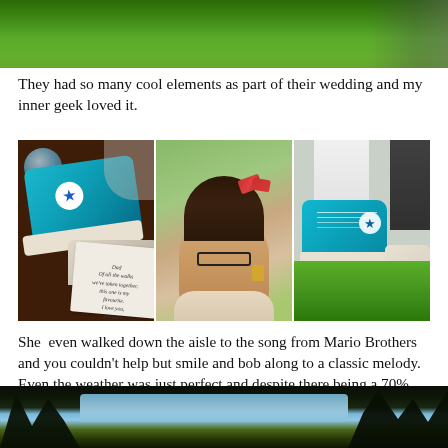[Figure (photo): Top strip photo: green grass lawn with shadow of a person visible on the right side]
They had so many cool elements as part of their wedding and my inner geek loved it.
[Figure (photo): Three-photo collage: left photo shows teal Converse sneakers with a handkerchief/note, center photo shows a woman with dark hair in an updo wearing glasses in an outdoor setting, right photo shows teal Converse high-top shoe on green grass]
She  even walked down the aisle to the song from Mario Brothers and you couldn't help but smile and bob along to a classic melody. Even the weather was just perfect and despite there being a 70% chance of rain that day it held off until the reception started and everyone was in the beautiful white tent, seriously you couldn't have timed it better.
[Figure (photo): Bottom strip photo: dark scene with trees silhouetted against a bright blue sky]